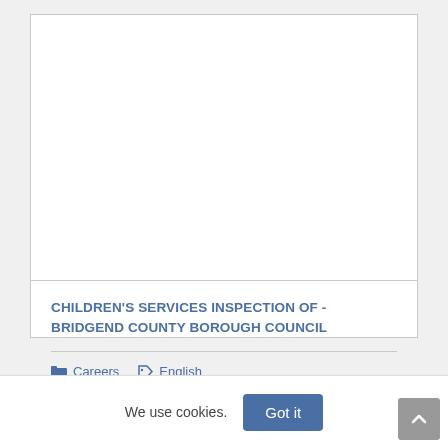[Figure (other): Blank white image area at the top of a content card]
CHILDREN'S SERVICES INSPECTION OF - BRIDGEND COUNTY BOROUGH COUNCIL
Careers  English
We use cookies.
Got it